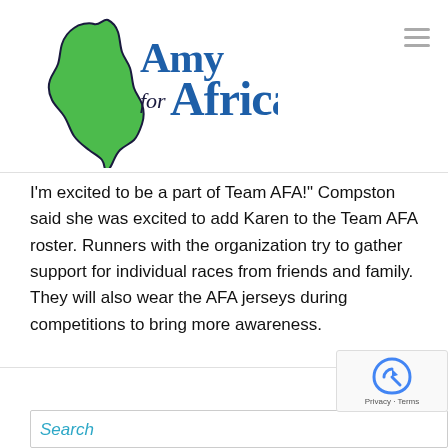[Figure (logo): Amy for Africa logo with green Africa continent shape and blue/black text]
I'm excited to be a part of Team AFA!" Compston said she was excited to add Karen to the Team AFA roster. Runners with the organization try to gather support for individual races from friends and family. They will also wear the AFA jerseys during competitions to bring more awareness.
By Mark Maynard | June 25th, 2015
Search